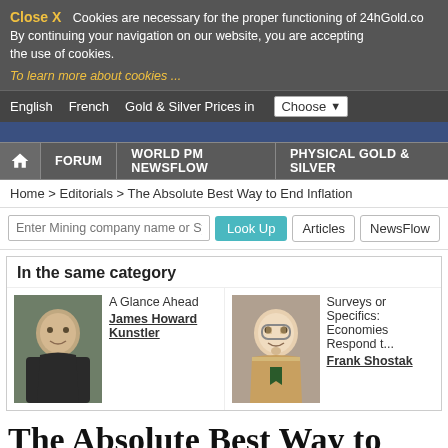Close X  Cookies are necessary for the proper functioning of 24hGold.co... By continuing your navigation on our website, you are accepting the use of cookies. To learn more about cookies ...
English  French  Gold & Silver Prices in  Choose
FORUM  WORLD PM NEWSFLOW  PHYSICAL GOLD & SILVER
Home > Editorials > The Absolute Best Way to End Inflation
Enter Mining company name or Symbol  Look Up  Articles  NewsFlow
In the same category
A Glance Ahead
James Howard Kunstler
Surveys or Specifics: How Economies Respond t...
Frank Shostak
The Absolute Best Way to End Infl
Published : May 12th, 2022